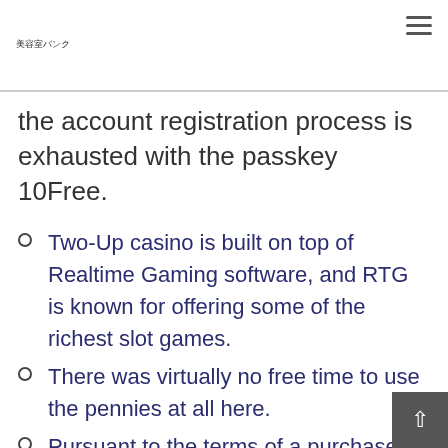美容室バンク
the account registration process is exhausted with the passkey 10Free.
Two-Up casino is built on top of Realtime Gaming software, and RTG is known for offering some of the richest slot games.
There was virtually no free time to use the pennies at all here.
Pursuant to the terms of a purchase